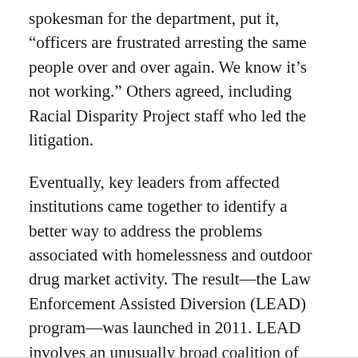spokesman for the department, put it, “officers are frustrated arresting the same people over and over again. We know it’s not working.” Others agreed, including Racial Disparity Project staff who led the litigation.
Eventually, key leaders from affected institutions came together to identify a better way to address the problems associated with homelessness and outdoor drug market activity. The result—the Law Enforcement Assisted Diversion (LEAD) program—was launched in 2011. LEAD involves an unusually broad coalition of organizations including the Racial Disparity Project, the ACLU of Washington, the Department of Corrections, the SPD, the King County Sheriff, neighborhood organizations, and city and state prosecutors.